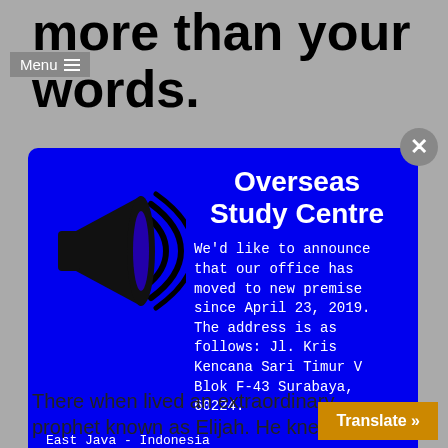more than your words.
[Figure (screenshot): Modal popup with blue background containing Overseas Study Centre announcement with megaphone illustration, address, contact info, and website URL]
There when lived an extraordinary prophet known as Elijah. He knew the